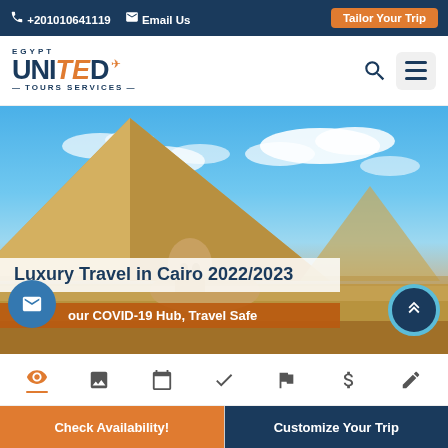+201010641119  Email Us  Tailor Your Trip
[Figure (logo): Egypt United Tours Services logo with orange and navy text and airplane icon]
[Figure (photo): Photo of the Great Sphinx and Great Pyramid of Giza against a blue sky with clouds]
Luxury Travel in Cairo 2022/2023
our COVID-19 Hub, Travel Safe
[Figure (infographic): Icon navigation bar with eye, image, calendar, checkmark, flag, dollar, and edit icons]
Check Availability!  Customize Your Trip